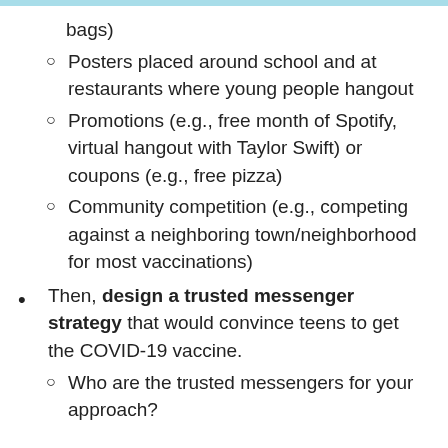bags)
Posters placed around school and at restaurants where young people hangout
Promotions (e.g., free month of Spotify, virtual hangout with Taylor Swift) or coupons (e.g., free pizza)
Community competition (e.g., competing against a neighboring town/neighborhood for most vaccinations)
Then, design a trusted messenger strategy that would convince teens to get the COVID-19 vaccine.
Who are the trusted messengers for your approach?